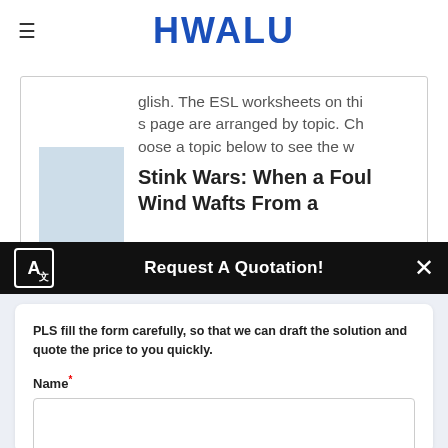HWALU
glish. The ESL worksheets on this page are arranged by topic. Choose a topic below to see the w
Stink Wars: When a Foul Wind Wafts From a
Request A Quotation!
PLS fill the form carefully, so that we can draft the solution and quote the price to you quickly.
Name*
E-mail*